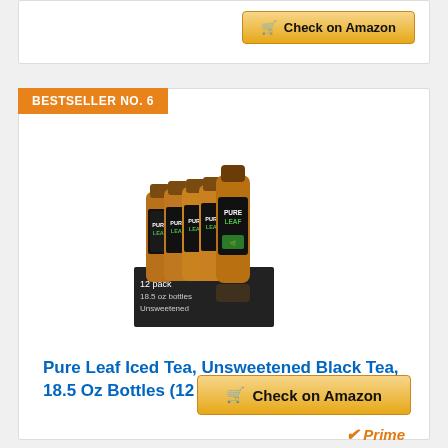[Figure (screenshot): Top portion of a previous product card showing a golden 'Check on Amazon' button with shopping cart icon]
BESTSELLER NO. 6
[Figure (photo): Pure Leaf Iced Tea Unsweetened Black Tea bottles (12 pack, 18.5 oz bottles) product image showing multiple glass bottles with green and black labels arranged together with a black box]
Pure Leaf Iced Tea, Unsweetened Black Tea, 18.5 Oz Bottles (12 Pack)
Prime
Check on Amazon